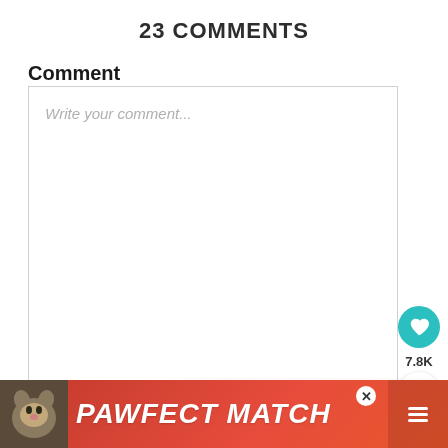23 COMMENTS
Comment
Write your comment...
7.8K
[Figure (screenshot): WHAT'S NEXT arrow label with thumbnail image and text 'Air Fried Brussels...']
Name *
[Figure (screenshot): Advertisement banner: PAWFECT MATCH with cat image and close button]